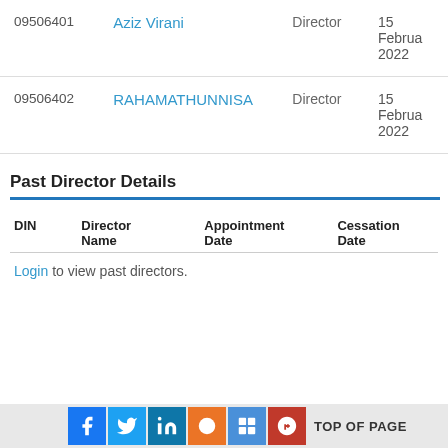| DIN | Director Name | Role | Date |
| --- | --- | --- | --- |
| 09506401 | Aziz Virani | Director | 15 February 2022 |
| 09506402 | RAHAMATHUNNISA | Director | 15 February 2022 |
Past Director Details
| DIN | Director Name | Appointment Date | Cessation Date |
| --- | --- | --- | --- |
Login to view past directors.
TOP OF PAGE